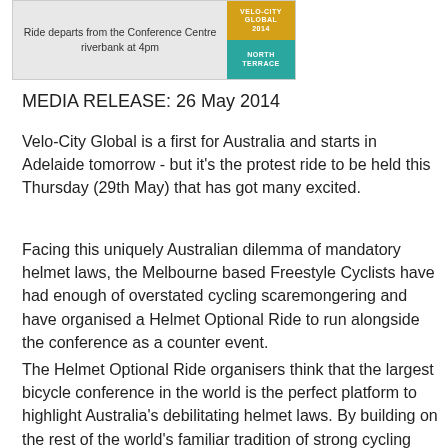[Figure (illustration): Event flyer image showing text 'Ride departs from the Conference Centre riverbank at 4pm' with yellow and teal colored blocks on the right side reading 'NORTH TERRACE']
MEDIA RELEASE: 26 May 2014
Velo-City Global is a first for Australia and starts in Adelaide tomorrow - but it’s the protest ride to be held this Thursday (29th May) that has got many excited.
Facing this uniquely Australian dilemma of mandatory helmet laws, the Melbourne based Freestyle Cyclists have had enough of overstated cycling scaremongering and have organised a Helmet Optional Ride to run alongside the conference as a counter event.
The Helmet Optional Ride organisers think that the largest bicycle conference in the world is the perfect platform to highlight Australia’s debilitating helmet laws. By building on the rest of the world’s familiar tradition of strong cycling credentials, the organisers welcome this opportunity to showcase Australians’ logistical ability to make a choice about riding a bicycle without the necessity of laws dictating...